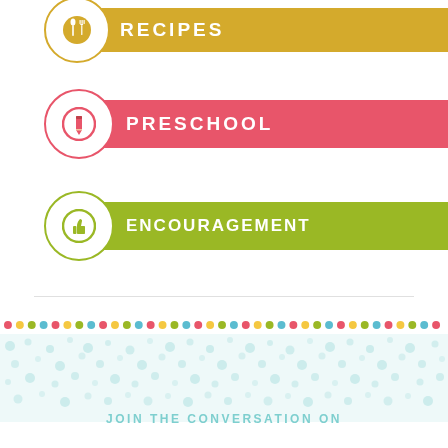[Figure (infographic): Yellow banner with fork/spoon icon circle labeled RECIPES]
[Figure (infographic): Pink ribbon banner with pencil icon circle labeled PRESCHOOL]
[Figure (infographic): Green ribbon banner with thumbs up icon circle labeled ENCOURAGEMENT]
[Figure (infographic): Colorful dot row separator (red, yellow, green, blue repeating dots)]
[Figure (infographic): Teal dotted pattern footer area with text JOIN THE CONVERSATION ON]
JOIN THE CONVERSATION ON